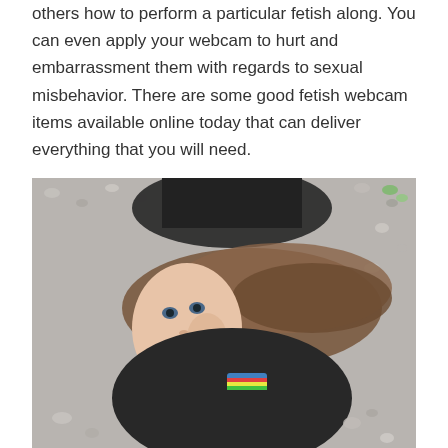others how to perform a particular fetish along. You can even apply your webcam to hurt and embarrassment them with regards to sexual misbehavior. There are some good fetish webcam items available online today that can deliver everything that you will need.
[Figure (photo): A young woman with long brown hair lying on a gravel surface, looking up at the camera with a smile, wearing a black jacket and a colorful striped item.]